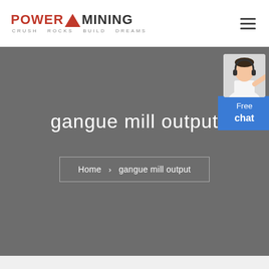[Figure (logo): Power Mining logo with red triangle between POWER and MINING text, tagline Crush Rocks Build Dreams]
[Figure (illustration): Hamburger menu icon (three horizontal lines) in top right corner]
gangue mill output
Home > gangue mill output
[Figure (photo): Customer service representative illustration with Free chat button widget in blue]